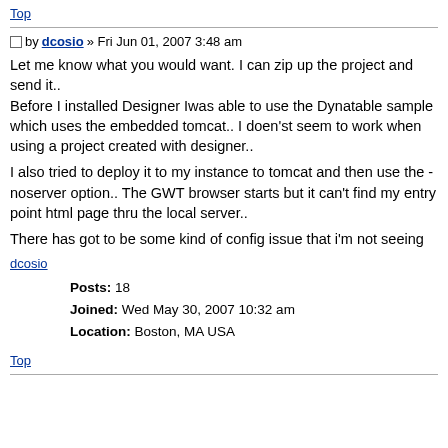Top
by dcosio » Fri Jun 01, 2007 3:48 am
Let me know what you would want. I can zip up the project and send it..
Before I installed Designer Iwas able to use the Dynatable sample which uses the embedded tomcat.. I doen'st seem to work when using a project created with designer..
I also tried to deploy it to my instance to tomcat and then use the -noserver option.. The GWT browser starts but it can't find my entry point html page thru the local server..
There has got to be some kind of config issue that i'm not seeing
dcosio
Posts: 18
Joined: Wed May 30, 2007 10:32 am
Location: Boston, MA USA
Top